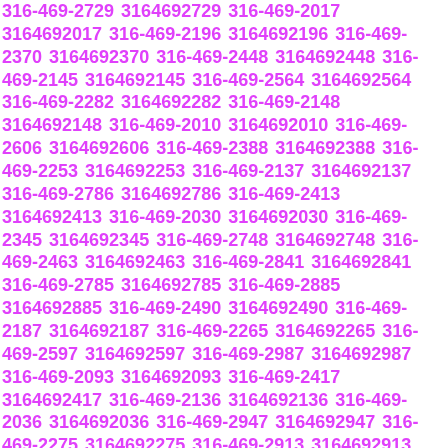316-469-2729 3164692729 316-469-2017 3164692017 316-469-2196 3164692196 316-469-2370 3164692370 316-469-2448 3164692448 316-469-2145 3164692145 316-469-2564 3164692564 316-469-2282 3164692282 316-469-2148 3164692148 316-469-2010 3164692010 316-469-2606 3164692606 316-469-2388 3164692388 316-469-2253 3164692253 316-469-2137 3164692137 316-469-2786 3164692786 316-469-2413 3164692413 316-469-2030 3164692030 316-469-2345 3164692345 316-469-2748 3164692748 316-469-2463 3164692463 316-469-2841 3164692841 316-469-2785 3164692785 316-469-2885 3164692885 316-469-2490 3164692490 316-469-2187 3164692187 316-469-2265 3164692265 316-469-2597 3164692597 316-469-2987 3164692987 316-469-2093 3164692093 316-469-2417 3164692417 316-469-2136 3164692136 316-469-2036 3164692036 316-469-2947 3164692947 316-469-2275 3164692275 316-469-2913 3164692913 316-469-2653 3164692653 316-469-2994 3164692994 316-469-2759 3164692759 316-469-2751 3164692751 316-469-2427 3164692427 316-469-2096 3164692096 316-469-2830 3164692830 316-469-2084 3164692084 316-469-2796 3164692796 316-469-2612 3164692612 316-469-2446 3164692446 316-469-2008 3164692008 316-469-2882 3164692882 316-469-2267 3164692267 316-469-2143 3164692143 316-469-2095 3164692095 316-469-2101 3164692101 316-469-2820 3164692820 316-469-2292 3164692292 316-469-2404 3164692404 316-469-2926 3164692926 316-469-2659 3164692659 316-469-2422 3164692422 316-469-2294 3164692294 316-469-2256 3164692256 316-469-2755 3164692755 316-469-2329 3164692329 316-469-2758